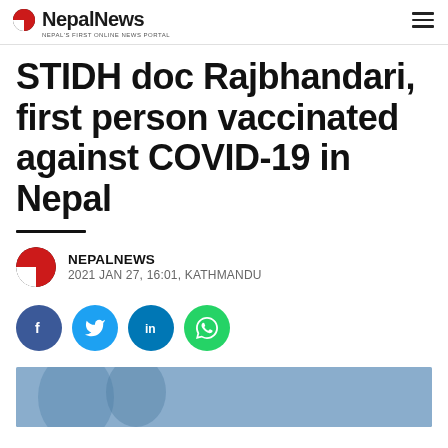NepalNews — NEPAL'S FIRST ONLINE NEWS PORTAL
STIDH doc Rajbhandari, first person vaccinated against COVID-19 in Nepal
NEPALNEWS — 2021 JAN 27, 16:01, KATHMANDU
[Figure (infographic): Social share buttons: Facebook, Twitter, LinkedIn, WhatsApp]
[Figure (photo): Article thumbnail image, partially visible at bottom of page]